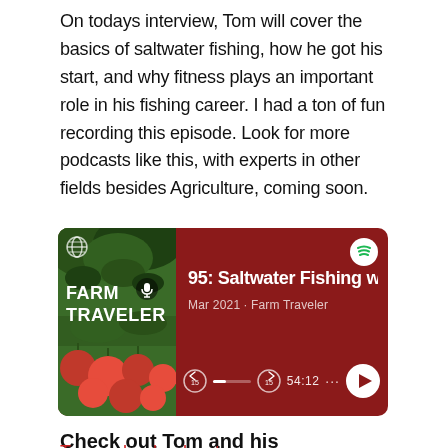On todays interview, Tom will cover the basics of saltwater fishing, how he got his start, and why fitness plays an important role in his fishing career. I had a ton of fun recording this episode. Look for more podcasts like this, with experts in other fields besides Agriculture, coming soon.
[Figure (screenshot): Spotify podcast player card with dark red background showing Farm Traveler podcast episode 95: Saltwater Fishing w... by Tom Rowland, Mar 2021, duration 54:12]
Check out Tom and his podcast/shows at the links below.
Tomrowlandpodcast.com